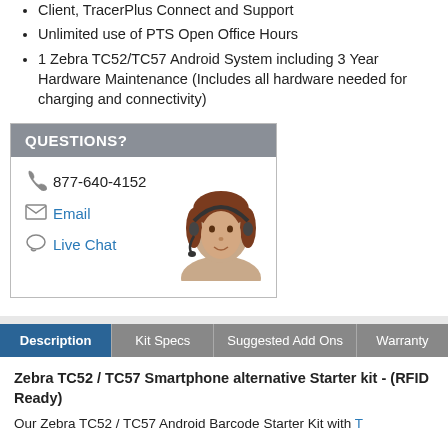Client, TracerPlus Connect and Support
Unlimited use of PTS Open Office Hours
1 Zebra TC52/TC57 Android System including 3 Year Hardware Maintenance (Includes all hardware needed for charging and connectivity)
[Figure (infographic): Questions box with phone number 877-640-4152, Email link, Live Chat link, and a photo of a woman wearing a headset]
Description | Kit Specs | Suggested Add Ons | Warranty
Zebra TC52 / TC57 Smartphone alternative Starter kit - (RFID Ready)
Our Zebra TC52 / TC57 Android Barcode Starter Kit with T